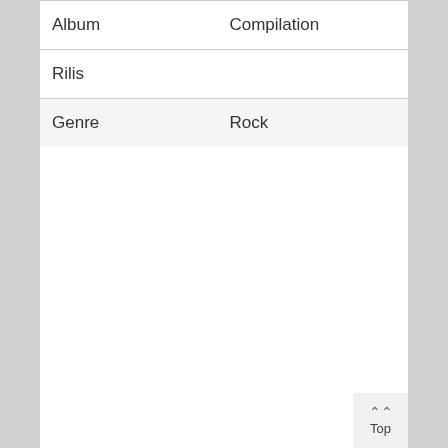| Album | Compilation |
| Rilis |  |
| Genre | Rock |
Top